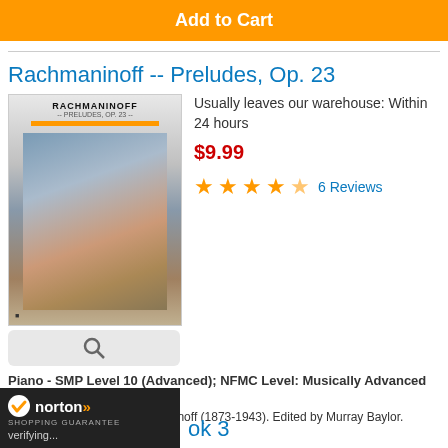Add to Cart
Rachmaninoff -- Preludes, Op. 23
[Figure (illustration): Book cover for Rachmaninoff Preludes Op. 23 with orange bar and landscape image]
Usually leaves our warehouse: Within 24 hours
$9.99
★★★★☆ 6 Reviews
Piano - SMP Level 10 (Advanced); NFMC Level: Musically Advanced Class 2
Composed by Sergei Rachmaninoff (1873-1943). Edited by Murray Baylor.
SMP Level 10 Advanced
Add to Cart
[Figure (logo): Norton Shopping Guarantee badge with checkmark]
verifying...
...ok 3